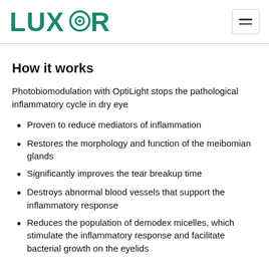LUXOR [logo with eye icon] — navigation hamburger menu
How it works
Photobiomodulation with OptiLight stops the pathological inflammatory cycle in dry eye
Proven to reduce mediators of inflammation
Restores the morphology and function of the meibomian glands
Significantly improves the tear breakup time
Destroys abnormal blood vessels that support the inflammatory response
Reduces the population of demodex micelles, which stimulate the inflammatory response and facilitate bacterial growth on the eyelids